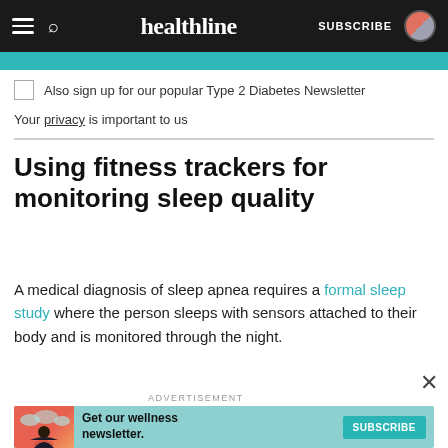healthline — SUBSCRIBE
Also sign up for our popular Type 2 Diabetes Newsletter
Your privacy is important to us
Using fitness trackers for monitoring sleep quality
A medical diagnosis of sleep apnea requires a formal sleep study where the person sleeps with sensors attached to their body and is monitored through the night.
ADVERTISEMENT
[Figure (illustration): Advertisement banner: Get our wellness newsletter with a Subscribe button, showing an illustrated woman with orange/teal background]